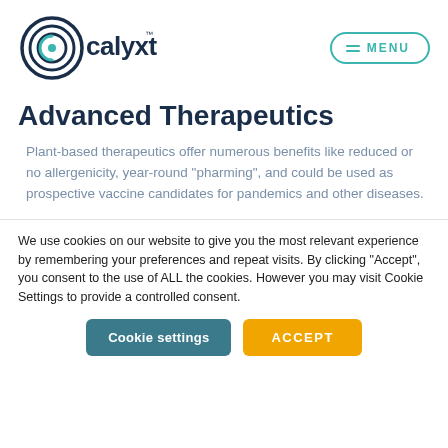[Figure (logo): Calyxt logo with circular target icon and 'calyxt' text with TM mark in dark navy blue]
Advanced Therapeutics
Plant-based therapeutics offer numerous benefits like reduced or no allergenicity, year-round "pharming", and could be used as prospective vaccine candidates for pandemics and other diseases.
We use cookies on our website to give you the most relevant experience by remembering your preferences and repeat visits. By clicking "Accept", you consent to the use of ALL the cookies. However you may visit Cookie Settings to provide a controlled consent.